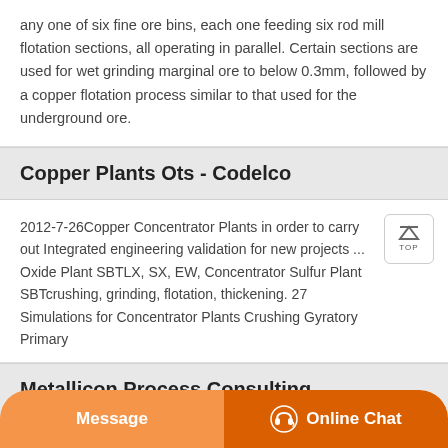any one of six fine ore bins, each one feeding six rod mill flotation sections, all operating in parallel. Certain sections are used for wet grinding marginal ore to below 0.3mm, followed by a copper flotation process similar to that used for the underground ore.
Copper Plants Ots - Codelco
2012-7-26Copper Concentrator Plants in order to carry out Integrated engineering validation for new projects ... Oxide Plant SBTLX, SX, EW, Concentrator Sulfur Plant SBTcrushing, grinding, flotation, thickening. 27 Simulations for Concentrator Plants Crushing Gyratory Primary
Metallicon Process Consulting
Concentract Process Report NM43181 for copper concentrator...